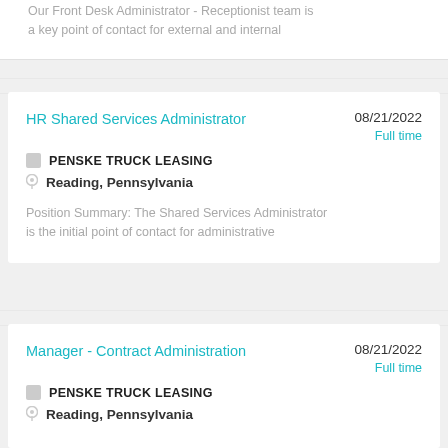Our Front Desk Administrator - Receptionist team is a key point of contact for external and internal
HR Shared Services Administrator
08/21/2022
PENSKE TRUCK LEASING
Full time
Reading, Pennsylvania
Position Summary: The Shared Services Administrator is the initial point of contact for administrative
Manager - Contract Administration
08/21/2022
PENSKE TRUCK LEASING
Full time
Reading, Pennsylvania